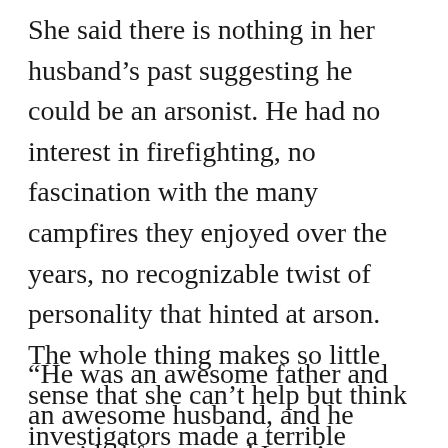She said there is nothing in her husband's past suggesting he could be an arsonist. He had no interest in firefighting, no fascination with the many campfires they enjoyed over the years, no recognizable twist of personality that hinted at arson. The whole thing makes so little sense that she can't help but think investigators made a terrible mistake.
“He was an awesome father and an awesome husband, and he provided for us, and I can’t understand this… I don’t